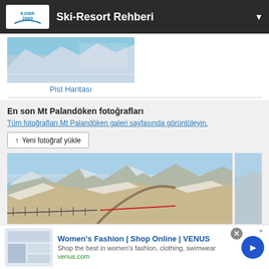Ski-Resort Rehberi
[Figure (photo): Ski resort piste map showing mountain trails]
Pist Haritası
En son Mt Palandöken fotoğrafları
Tüm fotoğrafları Mt Palandöken galeri sayfasında görüntüleyin.
↑ Yeni fotoğraf yükle
[Figure (photo): Aerial snowy mountain landscape of Mt Palandöken ski resort]
Women's Fashion | Shop Online | VENUS
Shop the best in women's fashion, clothing, swimwear
venus.com